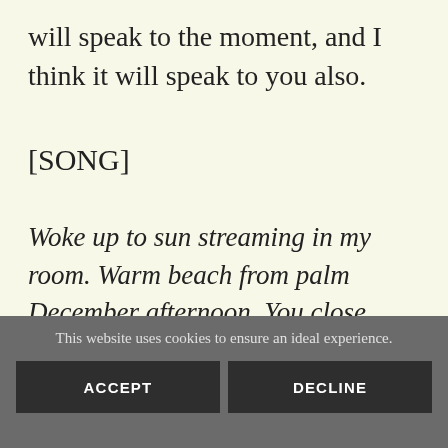will speak to the moment, and I think it will speak to you also.
[SONG]
Woke up to sun streaming in my room. Warm beach from palm December afternoon. You close your eyes, another year
This website uses cookies to ensure an ideal experience.
ACCEPT
DECLINE